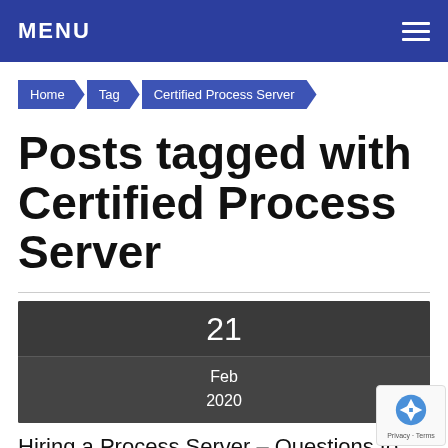MENU
Home
Tag
Certified Process Server
Posts tagged with Certified Process Server
21
Feb 2020
Hiring a Process Server – Questions to Ask!